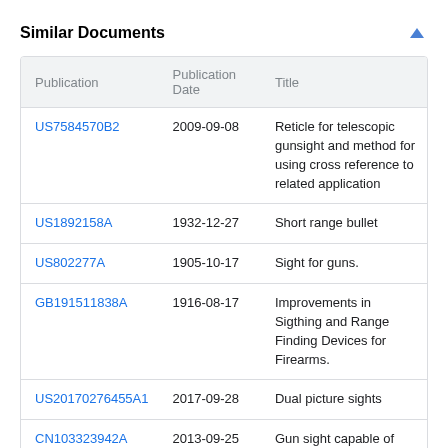Similar Documents
| Publication | Publication Date | Title |
| --- | --- | --- |
| US7584570B2 | 2009-09-08 | Reticle for telescopic gunsight and method for using cross reference to related application |
| US1892158A | 1932-12-27 | Short range bullet |
| US802277A | 1905-10-17 | Sight for guns. |
| GB191511838A | 1916-08-17 | Improvements in Sigthing and Range Finding Devices for Firearms. |
| US20170276455A1 | 2017-09-28 | Dual picture sights |
| CN103323942A | 2013-09-25 | Gun sight capable of showing two images in different zoom ratios in |